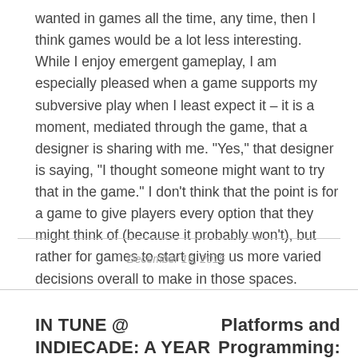wanted in games all the time, any time, then I think games would be a lot less interesting. While I enjoy emergent gameplay, I am especially pleased when a game supports my subversive play when I least expect it – it is a moment, mediated through the game, that a designer is sharing with me. "Yes," that designer is saying, "I thought someone might want to try that in the game." I don't think that the point is for a game to give players every option that they might think of (because it probably won't), but rather for games to start giving us more varied decisions overall to make in those spaces.
December 16, 2015 ·
IN TUNE @ INDIECADE: A YEAR AND A MONTH OF MAKING A GAME
Platforms and Programming: Learning Processing